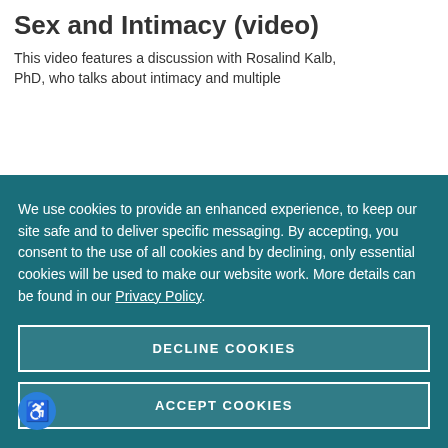Sex and Intimacy (video)
This video features a discussion with Rosalind Kalb, PhD, who talks about intimacy and multiple
We use cookies to provide an enhanced experience, to keep our site safe and to deliver specific messaging. By accepting, you consent to the use of all cookies and by declining, only essential cookies will be used to make our website work. More details can be found in our Privacy Policy.